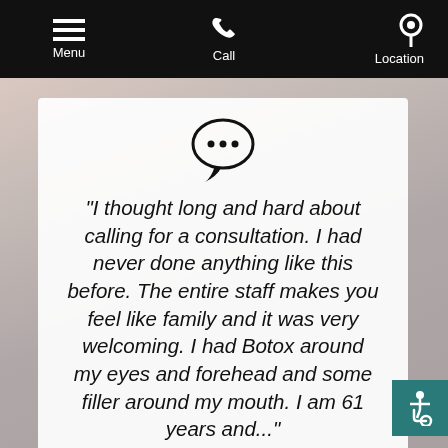Menu  Call  Location
[Figure (screenshot): Mobile app navigation bar with Menu (hamburger icon), Call (phone icon), and Location (pin icon) on black background]
[Figure (illustration): Speech bubble icon with three dots (ellipsis) indicating conversation/testimonial]
"I thought long and hard about calling for a consultation. I had never done anything like this before. The entire staff makes you feel like family and it was very welcoming. I had Botox around my eyes and forehead and some filler around my mouth. I am 61 years and..."